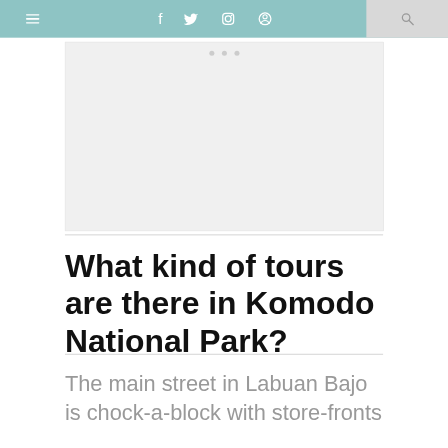Navigation bar with hamburger menu, social icons (f, twitter, instagram, pinterest), and search
[Figure (other): Image placeholder area with three dots indicating a slideshow or carousel]
What kind of tours are there in Komodo National Park?
The main street in Labuan Bajo is chock-a-block with store-fronts